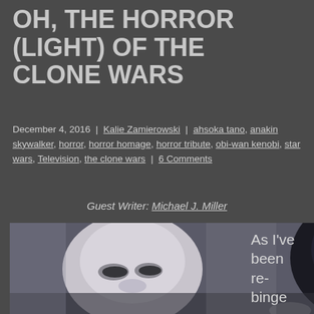OH, THE HORROR (LIGHT) OF THE CLONE WARS
December 4, 2016 | Kalie Zamierowski | ahsoka tano, anakin skywalker, horror, horror homage, horror tribute, obi-wan kenobi, star wars, Television, the clone wars | 6 Comments
Guest Writer: Michael J. Miller
[Figure (photo): Animated scene from The Clone Wars showing two alien characters face to face in a dark setting. One character on the left appears pale/light colored with closed eyes, the other on the right is dark/black with large blue eyes and a yellowish tendril or appendage near its mouth.]
As I've been re-binge